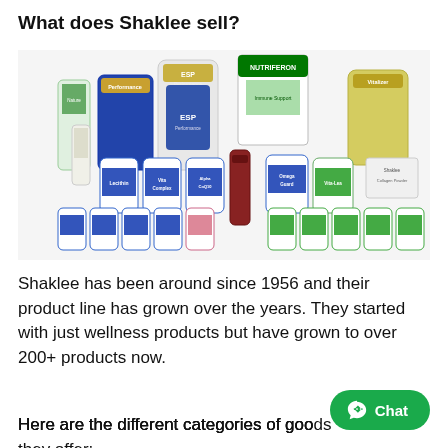What does Shaklee sell?
[Figure (photo): Array of Shaklee health and wellness supplement products including ESP protein powder, Nutriferon, Performance, Omega Guard, Vita-Lea, Lecithin, Vitalizer, Alpha CoQ10, and many supplement bottles arranged in a display.]
Shaklee has been around since 1956 and their product line has grown over the years. They started with just wellness products but have grown to over 200+ products now.
Here are the different categories of goods they offer: